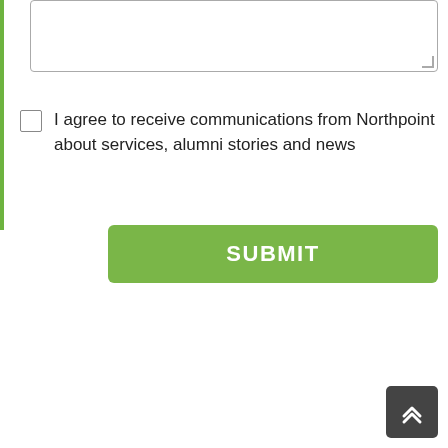[Figure (screenshot): A text area input box with resize handle in the bottom-right corner]
I agree to receive communications from Northpoint about services, alumni stories and news
SUBMIT
[Figure (other): Back to top button with double chevron up arrow icon]